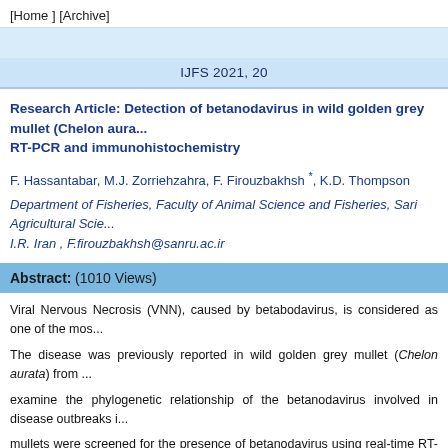[Home ] [Archive]
IJFS 2021, 20
Research Article: Detection of betanodavirus in wild golden grey mullet (Chelon aura... RT-PCR and immunohistochemistry
F. Hassantabar, M.J. Zorriehzahra, F. Firouzbakhsh *, K.D. Thompson
Department of Fisheries, Faculty of Animal Science and Fisheries, Sari Agricultural Scie... I.R. Iran , F.firouzbakhsh@sanru.ac.ir
Abstract:   (1010 Views)
Viral Nervous Necrosis (VNN), caused by betabodavirus, is considered as one of the mos... The disease was previously reported in wild golden grey mullet (Chelon aurata) from ... examine the phylogenetic relationship of the betanodavirus involved in disease outbreaks i... mullets were screened for the presence of betanodavirus using real-time RT-PCR targeti... showed that all 40 fish has positive test for the virus, which was also confirmed b...